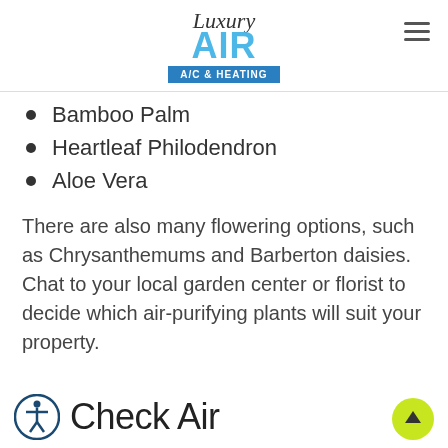Luxury Air A/C & Heating
Bamboo Palm
Heartleaf Philodendron
Aloe Vera
There are also many flowering options, such as Chrysanthemums and Barberton daisies. Chat to your local garden center or florist to decide which air-purifying plants will suit your property.
Check Air